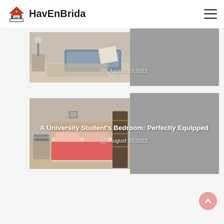[Figure (logo): HavEnBrida logo with colorful house icon and bold text]
[Figure (photo): Partially visible blog card showing a living room scene with a date overlay: August 23, 2022]
[Figure (photo): Blog card for 'A University Student's Bedroom: Perfectly Equipped' with bedroom photo and date August 23, 2022]